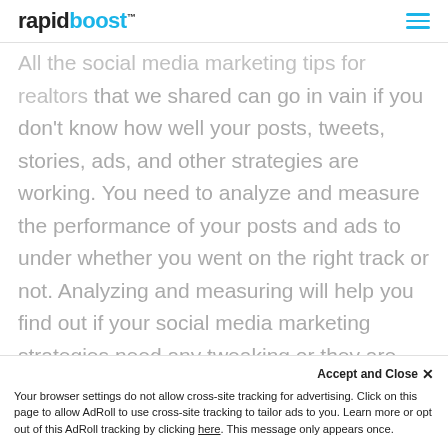rapidboost™
All the social media marketing tips for realtors that we shared can go in vain if you don't know how well your posts, tweets, stories, ads, and other strategies are working. You need to analyze and measure the performance of your posts and ads to under whether you went on the right track or not. Analyzing and measuring will help you find out if your social media marketing strategies need any tweaking or they are good to continue with. Close the loop by holding the results up to the goals you set and
Accept and Close ✕
Your browser settings do not allow cross-site tracking for advertising. Click on this page to allow AdRoll to use cross-site tracking to tailor ads to you. Learn more or opt out of this AdRoll tracking by clicking here. This message only appears once.